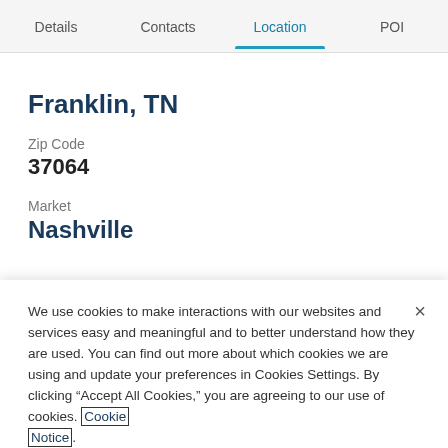Details | Contacts | Location | POI
Franklin, TN
Zip Code
37064
Market
Nashville
We use cookies to make interactions with our websites and services easy and meaningful and to better understand how they are used. You can find out more about which cookies we are using and update your preferences in Cookies Settings. By clicking “Accept All Cookies,” you are agreeing to our use of cookies. Cookie Notice.
Cookies Settings
Accept All Cookies